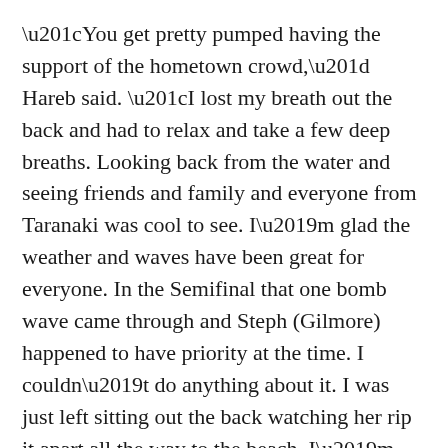“You get pretty pumped having the support of the hometown crowd,” Hareb said. “I lost my breath out the back and had to relax and take a few deep breaths. Looking back from the water and seeing friends and family and everyone from Taranaki was cool to see. I’m glad the weather and waves have been great for everyone. In the Semifinal that one bomb wave came through and Steph (Gilmore) happened to have priority at the time. I couldn’t do anything about it. I was just left sitting out the back watching her rip it apart all the way to the beach. I’m pretty competitive, so I’m happy with the result. I’d like to get at lest another 3rd in one of the remaining events this year.”
Lakey Peterson (USA), 17, has been a standout performer all week at the TSB Bank NZ Surf Festival, consistently posting excellent scores with her classic Californian style. She eliminated last year’s runner-up to the ASP Women’s